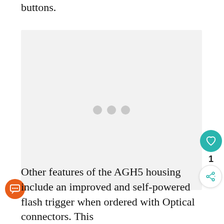buttons.
[Figure (photo): A loading placeholder image box with three grey dots in the center, indicating an image is loading.]
Other features of the AGH5 housing include an improved and self-powered flash trigger when ordered with Optical connectors. This